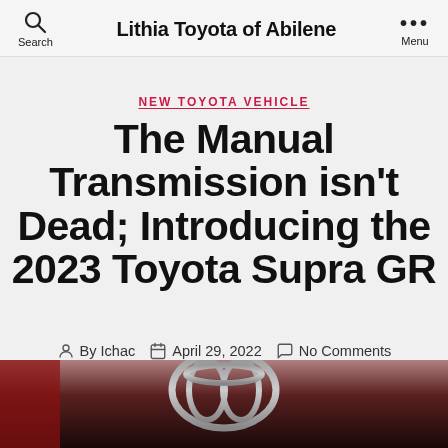Lithia Toyota of Abilene
NEW TOYOTA VEHICLE
The Manual Transmission isn't Dead; Introducing the 2023 Toyota Supra GR
By Ichac   April 29, 2022   No Comments
[Figure (photo): Bottom portion of page showing a Toyota logo emblem on the front of the 2023 Toyota Supra GR in red/dark tones]